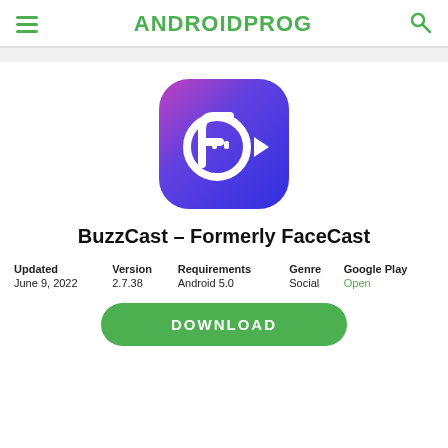ANDROIDPROG
[Figure (logo): BuzzCast app icon — rounded square with gradient from purple-blue to pink-red, white camera/face icon in the center]
BuzzCast – Formerly FaceCast
| Updated | Version | Requirements | Genre | Google Play |
| --- | --- | --- | --- | --- |
| June 9, 2022 | 2.7.38 | Android 5.0 | Social | Open |
DOWNLOAD